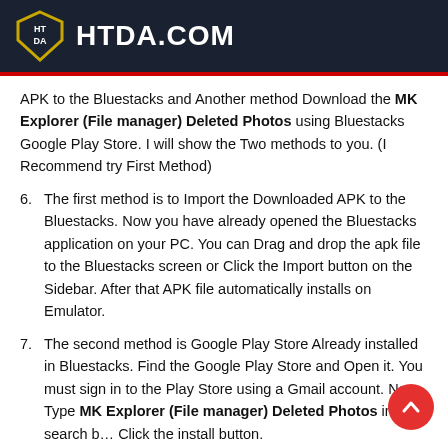HTDA.COM
APK to the Bluestacks and Another method Download the MK Explorer (File manager) Deleted Photos using Bluestacks Google Play Store. I will show the Two methods to you. (I Recommend try First Method)
6. The first method is to Import the Downloaded APK to the Bluestacks. Now you have already opened the Bluestacks application on your PC. You can Drag and drop the apk file to the Bluestacks screen or Click the Import button on the Sidebar. After that APK file automatically installs on Emulator.
7. The second method is Google Play Store Already installed in Bluestacks. Find the Google Play Store and Open it. You must sign in to the Play Store using a Gmail account. Now Type MK Explorer (File manager) Deleted Photos in the search b... Click the install button.